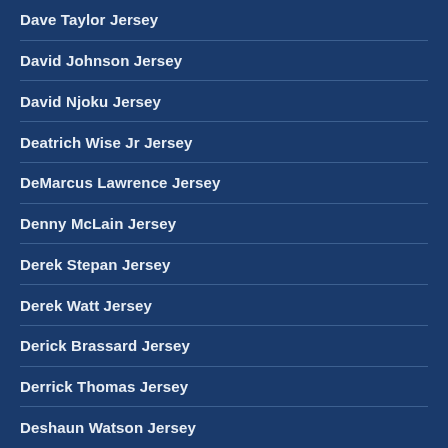Dave Taylor Jersey
David Johnson Jersey
David Njoku Jersey
Deatrich Wise Jr Jersey
DeMarcus Lawrence Jersey
Denny McLain Jersey
Derek Stepan Jersey
Derek Watt Jersey
Derick Brassard Jersey
Derrick Thomas Jersey
Deshaun Watson Jersey